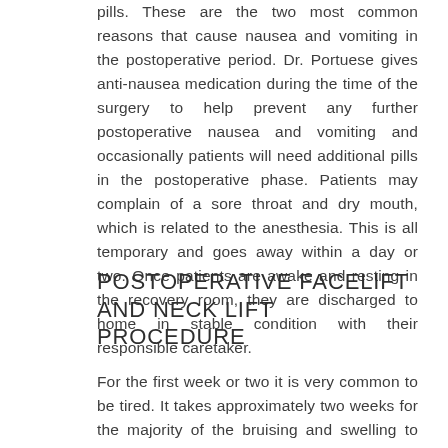pills. These are the two most common reasons that cause nausea and vomiting in the postoperative period. Dr. Portuese gives anti-nausea medication during the time of the surgery to help prevent any further postoperative nausea and vomiting and occasionally patients will need additional pills in the postoperative phase. Patients may complain of a sore throat and dry mouth, which is related to the anesthesia. This is all temporary and goes away within a day or two. Once patients are awake and resting in the recovery room, they are discharged to home in stable condition with their responsible caretaker.
POSTOPERATIVE FACELIFT AND NECK LIFT PROCEDURE
For the first week or two it is very common to be tired. It takes approximately two weeks for the majority of the bruising and swelling to subside in the postoperative phase. There is usually some residue